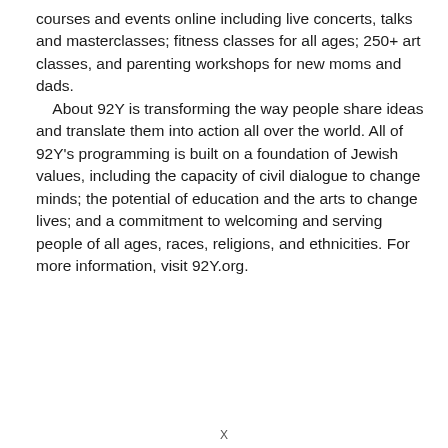courses and events online including live concerts, talks and masterclasses; fitness classes for all ages; 250+ art classes, and parenting workshops for new moms and dads. About 92Y is transforming the way people share ideas and translate them into action all over the world. All of 92Y's programming is built on a foundation of Jewish values, including the capacity of civil dialogue to change minds; the potential of education and the arts to change lives; and a commitment to welcoming and serving people of all ages, races, religions, and ethnicities. For more information, visit 92Y.org.
X